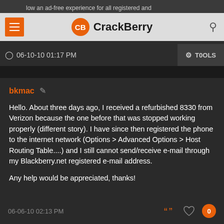CrackBerry
06-10-10 01:17 PM
TOOLS
bkmac
Hello. About three days ago, I received a refurbished 8330 from Verizon because the one before that was stopped working properly (different story). I have since then registered the phone to the internet network (Options > Advanced Options > Host Routing Table....) and I still cannot send/receive e-mail through my Blackberry.net registered e-mail address.

Any help would be appreciated, thanks!
06-06-10 02:13 PM